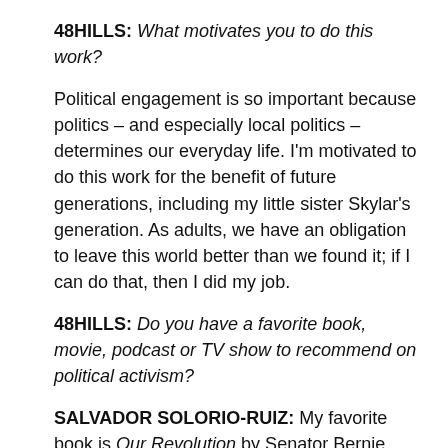48HILLS: What motivates you to do this work?
Political engagement is so important because politics – and especially local politics – determines our everyday life. I'm motivated to do this work for the benefit of future generations, including my little sister Skylar's generation. As adults, we have an obligation to leave this world better than we found it; if I can do that, then I did my job.
48HILLS: Do you have a favorite book, movie, podcast or TV show to recommend on political activism?
SALVADOR SOLORIO-RUIZ: My favorite book is Our Revolution by Senator Bernie Sanders,